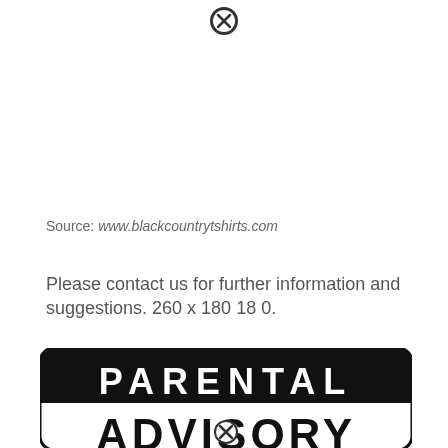[Figure (other): Close/dismiss icon (circle with X) at top center of page]
Source: www.blackcountrytshirts.com
Please contact us for further information and suggestions. 260 x 180 18 0.
[Figure (photo): Parental Advisory label image showing black rounded rectangle with white bold text 'PARENTAL' on top and partial 'ADVISORY' text below in black on white background]